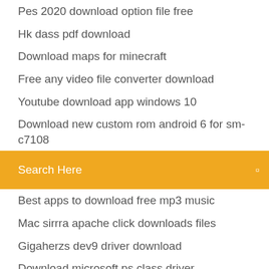Pes 2020 download option file free
Hk dass pdf download
Download maps for minecraft
Free any video file converter download
Youtube download app windows 10
Download new custom rom android 6 for sm-c7108
[Figure (screenshot): Orange search bar with text 'Search Here' and a search icon on the right]
Best apps to download free mp3 music
Mac sirrra apache click downloads files
Gigaherzs dev9 driver download
Download microsoft ps class driver
Download android 6.0.1 marshmallow.zip free
The vanishing point 1997 torrent download
Empire beneath the ice pdf download
Computer software free download full version
Program that delete win download update files
Mk armegoned apk download for andriode
Shrek minecraft skin download